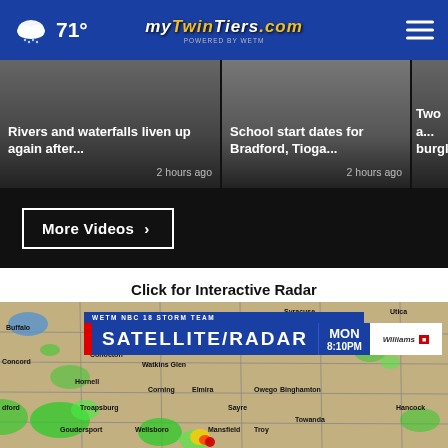71° | mytwintiers.com
[Figure (screenshot): News video thumbnails strip showing three stories: 'Rivers and waterfalls liven up again after...' 2 hours ago, 'School start dates for Bradford, Tioga...' 2 hours ago, 'Two a... burgl...' (partially visible)]
More Videos ›
Click for Interactive Radar
[Figure (map): WETM NBC 18 Storm Team Satellite/Radar map showing MON 8:10PM, sponsored by Williams. Weather radar overlay on regional map showing green and red precipitation areas over NY/PA region including locations: Buffalo, Concord, Cohocton, Hornell, Ithaca, Smithville, Watkins Glen, Corning, Elmira, Owego, Binghamton, Troapsburg, Sayre, Bradford, Goudersport, Wellsboro, Mansfield, Troy, Towanda, Hancock, Utica, Oneonta, Syracuse]